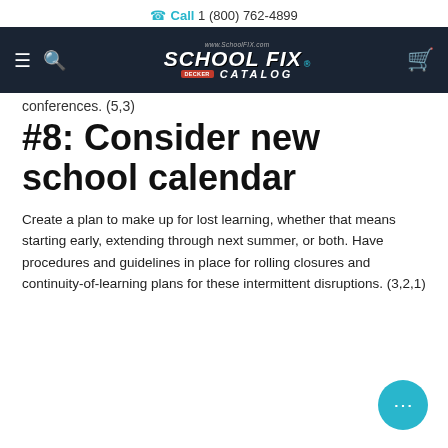Call 1 (800) 762-4899
[Figure (logo): School Fix Catalog logo with Decker badge on dark navy navigation bar with hamburger menu, search icon, and cart icon]
conferences. (5,3)
#8: Consider new school calendar
Create a plan to make up for lost learning, whether that means starting early, extending through next summer, or both. Have procedures and guidelines in place for rolling closures and continuity-of-learning plans for these intermittent disruptions. (3,2,1)